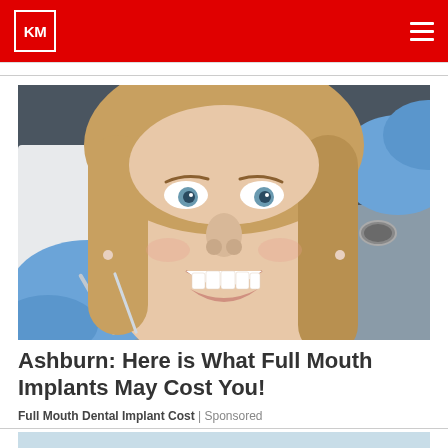KM
[Figure (photo): Woman smiling in dental chair with dentist's gloved hands holding dental instruments near her mouth]
Ashburn: Here is What Full Mouth Implants May Cost You!
Full Mouth Dental Implant Cost | Sponsored